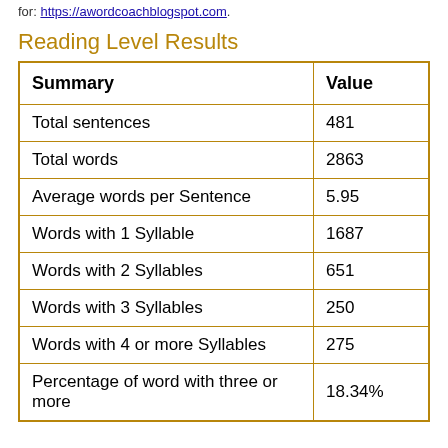for: https://awordcoachblogspot.com.
Reading Level Results
| Summary | Value |
| --- | --- |
| Total sentences | 481 |
| Total words | 2863 |
| Average words per Sentence | 5.95 |
| Words with 1 Syllable | 1687 |
| Words with 2 Syllables | 651 |
| Words with 3 Syllables | 250 |
| Words with 4 or more Syllables | 275 |
| Percentage of word with three or more | 18.34% |